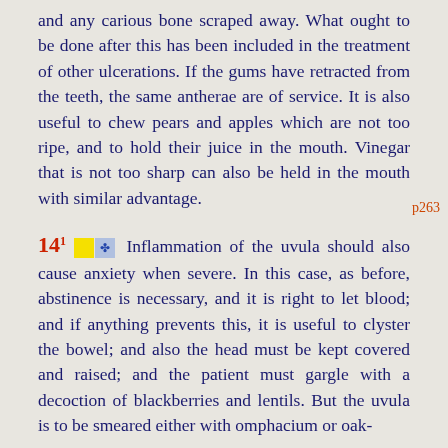and any carious bone scraped away. What ought to be done after this has been included in the treatment of other ulcerations. If the gums have retracted from the teeth, the same antherae are of service. It is also useful to chew pears and apples which are not too ripe, and to hold their juice in the mouth. Vinegar that is not too sharp can also be held in the mouth with similar advantage.
14 1 [icons] Inflammation of the uvula should also cause anxiety when severe. In this case, as before, abstinence is necessary, and it is right to let blood; and if anything prevents this, it is useful to clyster the bowel; and also the head must be kept covered and raised; and the patient must gargle with a decoction of blackberries and lentils. But the uvula is to be smeared either with omphacium or oak-
p263